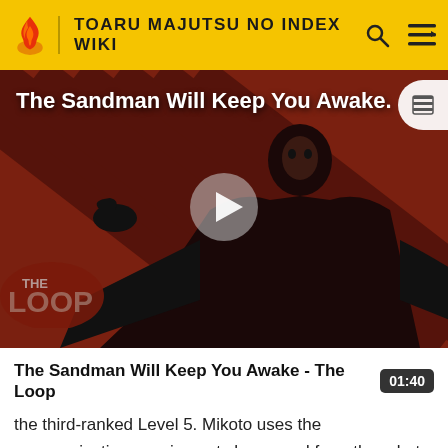TOARU MAJUTSU NO INDEX WIKI
[Figure (screenshot): Video thumbnail showing a dark-robed figure against a red diagonal stripe background with 'THE LOOP' logo overlay, a play button in center, and text 'The Sandman Will Keep You Awake.' in white at top left. The video is from Fandom's 'The Loop' feature.]
The Sandman Will Keep You Awake - The Loop
the third-ranked Level 5. Mikoto uses the communications equipment she spared from the robot to contact Baba from inside his control center. Although she had locked in Baba and had taken over his systems